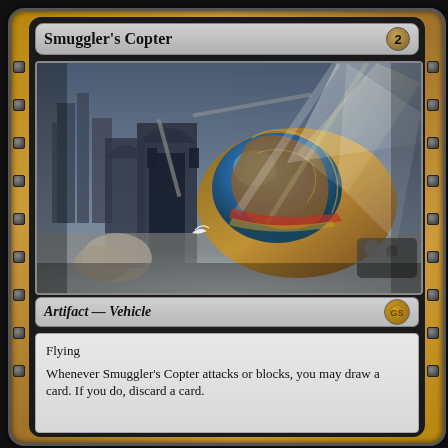Smuggler's Copter
[Figure (illustration): Fantasy art depicting a mechanical helicopter/vehicle with a helmeted pilot wearing teal goggles and ornate brown armor, flying over a gothic cityscape with dramatic light beams]
Artifact — Vehicle
Flying
Whenever Smuggler's Copter attacks or blocks, you may draw a card. If you do, discard a card.
Crewl (Tap any number of creatures you control with total power 1 or greater: This Vehicle becomes an artifact creature until end of turn.)